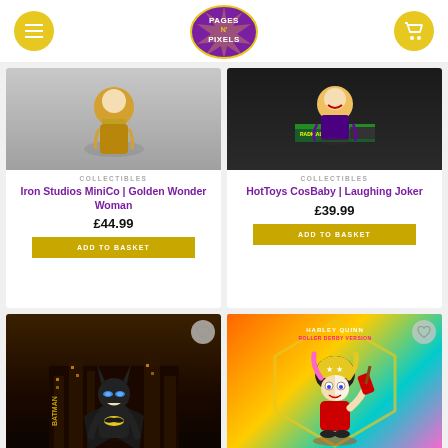[Figure (screenshot): Pages N Pixels online store header with logo, hamburger menu button, and cart button]
[Figure (photo): Iron Studios MiniCo Golden Wonder Woman collectible figure product image]
COLLECTIBLES
Iron Studios MiniCo | Golden Wonder Woman
£44.99
ADD TO BASKET
[Figure (photo): HotToys CosBaby Laughing Joker collectible figure product image]
COLLECTIBLES
HotToys CosBaby | Laughing Joker
£39.99
ADD TO BASKET
[Figure (photo): Batman CosBaby collectible figure product image with city background]
[Figure (photo): Harley Quinn Roller Derby Version CosBaby collectible figure product image]